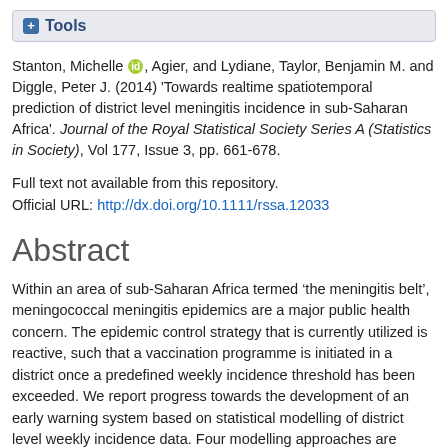+ Tools
Stanton, Michelle [orcid], Agier, and Lydiane, Taylor, Benjamin M. and Diggle, Peter J. (2014) 'Towards realtime spatiotemporal prediction of district level meningitis incidence in sub-Saharan Africa'. Journal of the Royal Statistical Society Series A (Statistics in Society), Vol 177, Issue 3, pp. 661-678.
Full text not available from this repository.
Official URL: http://dx.doi.org/10.1111/rssa.12033
Abstract
Within an area of sub-Saharan Africa termed ‘the meningitis belt’, meningococcal meningitis epidemics are a major public health concern. The epidemic control strategy that is currently utilized is reactive, such that a vaccination programme is initiated in a district once a predefined weekly incidence threshold has been exceeded. We report progress towards the development of an early warning system based on statistical modelling of district level weekly incidence data. Four modelling approaches are considered and their forecasting performances